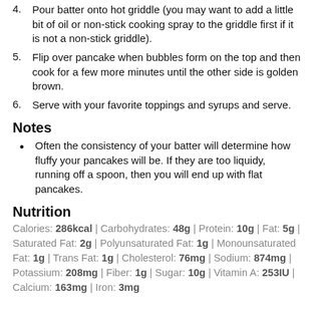4. Pour batter onto hot griddle (you may want to add a little bit of oil or non-stick cooking spray to the griddle first if it is not a non-stick griddle).
5. Flip over pancake when bubbles form on the top and then cook for a few more minutes until the other side is golden brown.
6. Serve with your favorite toppings and syrups and serve.
Notes
Often the consistency of your batter will determine how fluffy your pancakes will be. If they are too liquidy, running off a spoon, then you will end up with flat pancakes.
Nutrition
Calories: 286kcal | Carbohydrates: 48g | Protein: 10g | Fat: 5g | Saturated Fat: 2g | Polyunsaturated Fat: 1g | Monounsaturated Fat: 1g | Trans Fat: 1g | Cholesterol: 76mg | Sodium: 874mg | Potassium: 208mg | Fiber: 1g | Sugar: 10g | Vitamin A: 253IU | Calcium: 163mg | Iron: 3mg